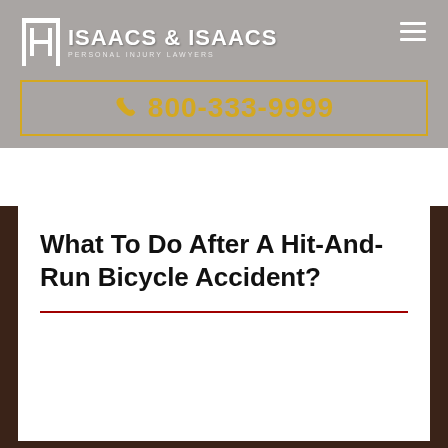ISAACS & ISAACS
☏ 800-333-9999
What To Do After A Hit-And-Run Bicycle Accident?